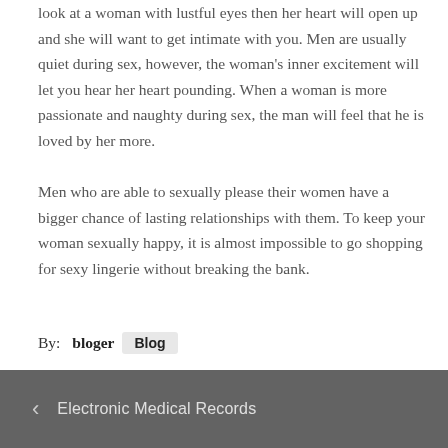look at a woman with lustful eyes then her heart will open up and she will want to get intimate with you. Men are usually quiet during sex, however, the woman's inner excitement will let you hear her heart pounding. When a woman is more passionate and naughty during sex, the man will feel that he is loved by her more.
Men who are able to sexually please their women have a bigger chance of lasting relationships with them. To keep your woman sexually happy, it is almost impossible to go shopping for sexy lingerie without breaking the bank.
By: bloger  Blog
< Electronic Medical Records